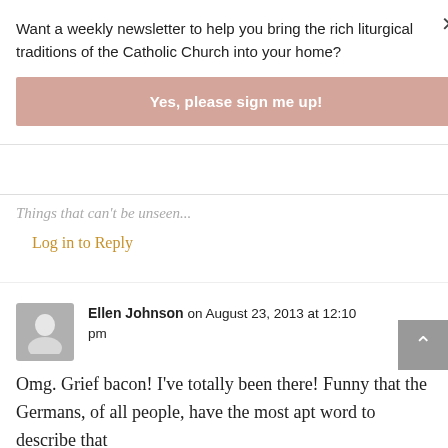Want a weekly newsletter to help you bring the rich liturgical traditions of the Catholic Church into your home?
Yes, please sign me up!
Things that can't be unseen...
Log in to Reply
Ellen Johnson on August 23, 2013 at 12:10 pm
Omg. Grief bacon! I've totally been there! Funny that the Germans, of all people, have the most apt word to describe that